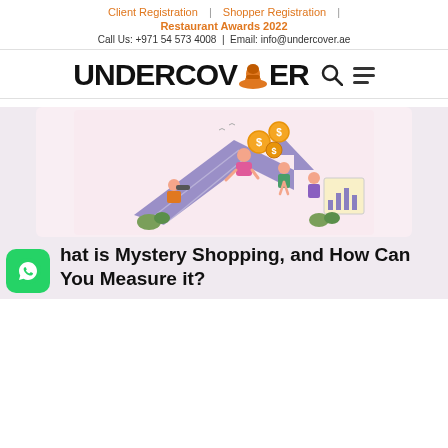Client Registration | Shopper Registration | Restaurant Awards 2022
Call Us: +971 54 573 4008 | Email: info@undercover.ae
[Figure (logo): Undercover logo with orange hat replacing the letter O, search icon and hamburger menu icon to the right]
[Figure (illustration): Marketing/growth illustration on pink background: people on a large upward arrow with coins and a bar chart board]
What is Mystery Shopping, and How Can You Measure it?